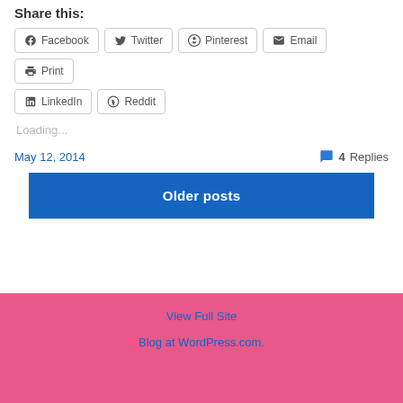Share this:
Facebook  Twitter  Pinterest  Email  Print  LinkedIn  Reddit
Loading...
May 12, 2014
4 Replies
Older posts
View Full Site
Blog at WordPress.com.